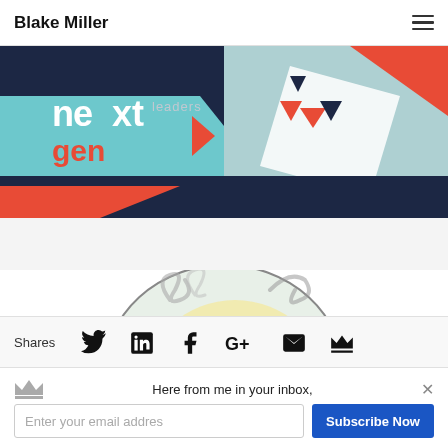Blake Miller
[Figure (illustration): Next Gen Leaders graphic with dark navy, teal, red and white geometric shapes and triangles with 'next gen leaders' text]
[Figure (logo): Social Smokers logo: cartoon pig character with smoke swirls on circular badge]
Shares
Here from me in your inbox,
Enter your email addres
Subscribe Now